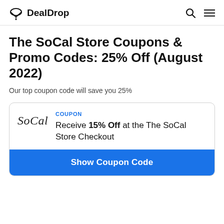DealDrop
The SoCal Store Coupons & Promo Codes: 25% Off (August 2022)
Our top coupon code will save you 25%
COUPON
Receive 15% Off at the The SoCal Store Checkout
Show Coupon Code